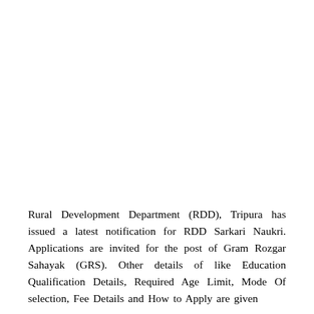Rural Development Department (RDD), Tripura has issued a latest notification for RDD Sarkari Naukri. Applications are invited for the post of Gram Rozgar Sahayak (GRS). Other details of like Education Qualification Details, Required Age Limit, Mode Of selection, Fee Details and How to Apply are given below.